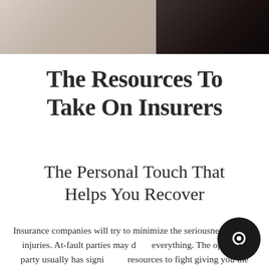[Figure (photo): Two-panel photo strip at top: left panel shows beige/taupe tones (possibly clothing or neutral background), right panel shows dark near-black tones.]
The Resources To Take On Insurers
The Personal Touch That Helps You Recover
Insurance companies will try to minimize the seriousness of your injuries. At-fault parties may deny everything. The opposing party usually has significant resources to fight giving you the money you need to support yourself and your family.